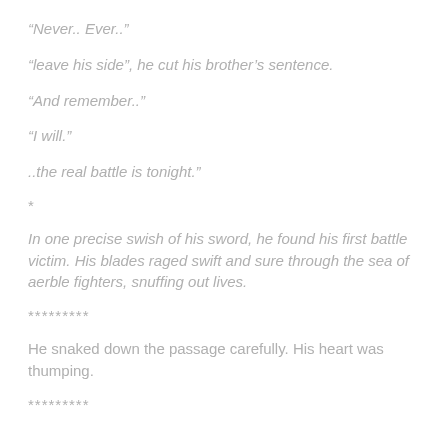“Never.. Ever..”
“leave his side”, he cut his brother’s sentence.
“And remember..”
“I will.”
..the real battle is tonight.”
*
In one precise swish of his sword, he found his first battle victim. His blades raged swift and sure through the sea of aerble fighters, snuffing out lives.
*********
He snaked down the passage carefully. His heart was thumping.
*********